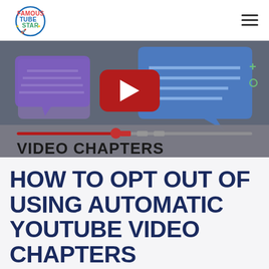FamousTubeStar
[Figure (screenshot): Thumbnail image showing YouTube video chapters concept with speech bubbles, YouTube play button, a video progress bar with chapters marker, and text 'VIDEO CHAPTERS' on a dark background]
HOW TO OPT OUT OF USING AUTOMATIC YOUTUBE VIDEO CHAPTERS